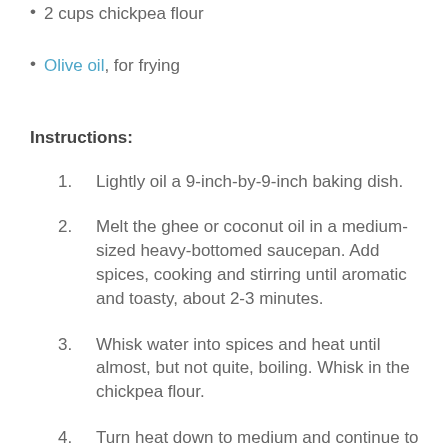2 cups chickpea flour
Olive oil, for frying
Instructions:
1. Lightly oil a 9-inch-by-9-inch baking dish.
2. Melt the ghee or coconut oil in a medium-sized heavy-bottomed saucepan. Add spices, cooking and stirring until aromatic and toasty, about 2-3 minutes.
3. Whisk water into spices and heat until almost, but not quite, boiling. Whisk in the chickpea flour.
4. Turn heat down to medium and continue to